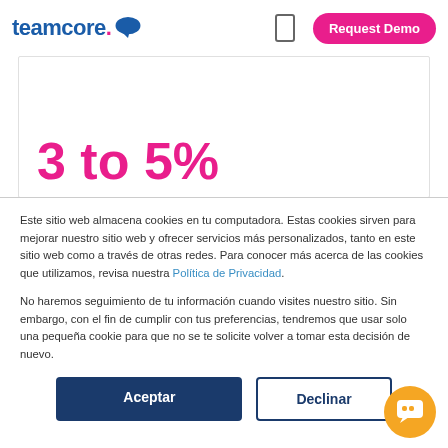[Figure (logo): Teamcore logo with blue text and pink speech bubble icon]
3 to 5%
Este sitio web almacena cookies en tu computadora. Estas cookies sirven para mejorar nuestro sitio web y ofrecer servicios más personalizados, tanto en este sitio web como a través de otras redes. Para conocer más acerca de las cookies que utilizamos, revisa nuestra Política de Privacidad.
No haremos seguimiento de tu información cuando visites nuestro sitio. Sin embargo, con el fin de cumplir con tus preferencias, tendremos que usar solo una pequeña cookie para que no se te solicite volver a tomar esta decisión de nuevo.
Aceptar | Declinar